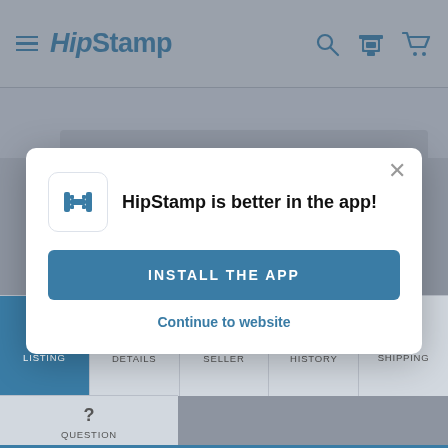[Figure (screenshot): HipStamp website header with hamburger menu, logo, search icon, stamp icon, and cart icon on a gray background]
[Figure (screenshot): Mobile app install prompt modal dialog: HipStamp logo icon, text 'HipStamp is better in the app!', blue 'INSTALL THE APP' button, and 'Continue to website' link. Close X button in top right corner.]
HipStamp is better in the app!
INSTALL THE APP
Continue to website
[Figure (screenshot): Navigation tab bar with tabs: LISTING (active, blue), DETAILS, SELLER, HISTORY, SHIPPING, and QUESTION tabs]